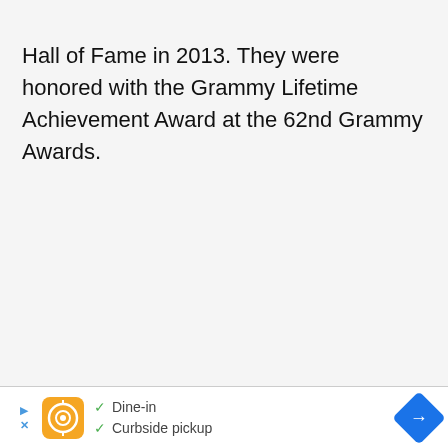Hall of Fame in 2013. They were honored with the Grammy Lifetime Achievement Award at the 62nd Grammy Awards.
[Figure (screenshot): Advertisement banner at bottom of page showing a restaurant logo, dine-in and curbside pickup options with checkmarks, and a blue navigation arrow icon.]